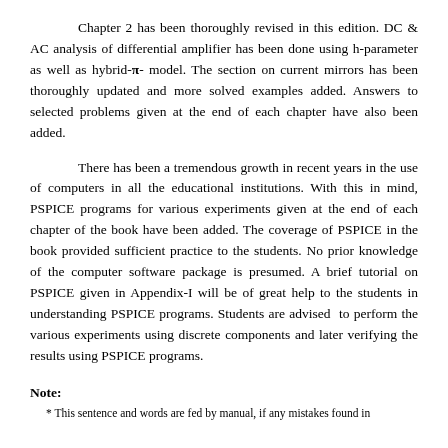Chapter 2 has been thoroughly revised in this edition. DC & AC analysis of differential amplifier has been done using h-parameter as well as hybrid-π- model. The section on current mirrors has been thoroughly updated and more solved examples added. Answers to selected problems given at the end of each chapter have also been added.
There has been a tremendous growth in recent years in the use of computers in all the educational institutions. With this in mind, PSPICE programs for various experiments given at the end of each chapter of the book have been added. The coverage of PSPICE in the book provided sufficient practice to the students. No prior knowledge of the computer software package is presumed. A brief tutorial on PSPICE given in Appendix-I will be of great help to the students in understanding PSPICE programs. Students are advised to perform the various experiments using discrete components and later verifying the results using PSPICE programs.
Note:
* This sentence and words are fed by manual, if any mistakes found in